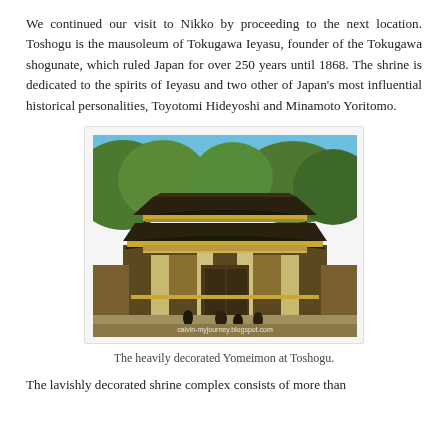We continued our visit to Nikko by proceeding to the next location. Toshogu is the mausoleum of Tokugawa Ieyasu, founder of the Tokugawa shogunate, which ruled Japan for over 250 years until 1868. The shrine is dedicated to the spirits of Ieyasu and two other of Japan's most influential historical personalities, Toyotomi Hideyoshi and Minamoto Yoritomo.
[Figure (photo): Photograph of the heavily decorated Yomeimon gate at Toshogu shrine in Nikko, Japan. The ornate multi-tiered gate is shown with green forested hills in the background and a blue sky. Watermark reads calvin-myjourney.blogspot.com.]
The heavily decorated Yomeimon at Toshogu.
The lavishly decorated shrine complex consists of more than